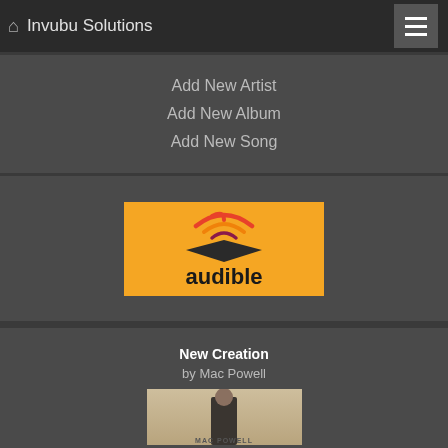Invubu Solutions
Add New Artist
Add New Album
Add New Song
[Figure (logo): Audible logo on yellow/orange background with sound wave arc over an open book icon]
New Creation
by Mac Powell
[Figure (photo): Album cover photo of Mac Powell standing against a light background, wearing a dark jacket, with text MAC POWELL at the bottom]